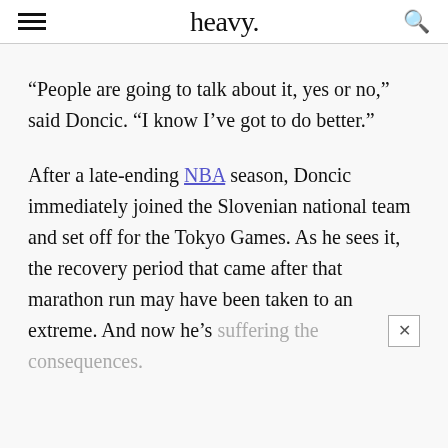heavy.
“People are going to talk about it, yes or no,” said Doncic. “I know I’ve got to do better.”
After a late-ending NBA season, Doncic immediately joined the Slovenian national team and set off for the Tokyo Games. As he sees it, the recovery period that came after that marathon run may have been taken to an extreme. And now he’s suffering the consequences.